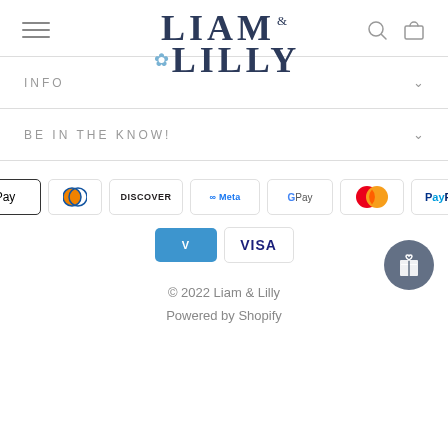[Figure (logo): Liam & Lilly brand logo with bee icon in dark navy and blue]
INFO
BE IN THE KNOW!
[Figure (infographic): Payment method icons: Amex, Apple Pay, Diners Club, Discover, Meta Pay, Google Pay, Mastercard, PayPal, Shop Pay, Venmo, Visa]
© 2022 Liam & Lilly
Powered by Shopify